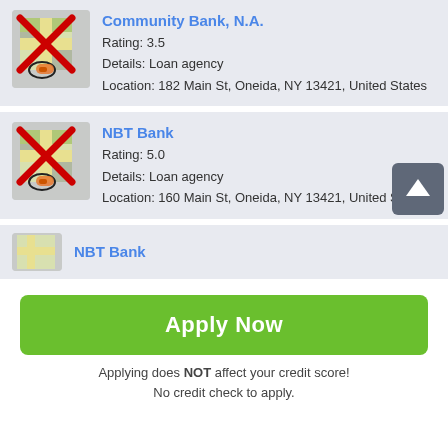[Figure (screenshot): Map icon with red X overlay and location pin for Community Bank, N.A.]
Community Bank, N.A.
Rating: 3.5
Details: Loan agency
Location: 182 Main St, Oneida, NY 13421, United States
[Figure (screenshot): Map icon with red X overlay and location pin for NBT Bank]
NBT Bank
Rating: 5.0
Details: Loan agency
Location: 160 Main St, Oneida, NY 13421, United States
[Figure (screenshot): Partial map icon for NBT Bank (partially visible card)]
NBT Bank (partially visible)
Apply Now
Applying does NOT affect your credit score!
No credit check to apply.